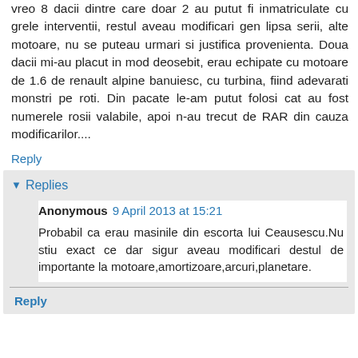vreo 8 dacii dintre care doar 2 au putut fi inmatriculate cu grele interventii, restul aveau modificari gen lipsa serii, alte motoare, nu se puteau urmari si justifica provenienta. Doua dacii mi-au placut in mod deosebit, erau echipate cu motoare de 1.6 de renault alpine banuiesc, cu turbina, fiind adevarati monstri pe roti. Din pacate le-am putut folosi cat au fost numerele rosii valabile, apoi n-au trecut de RAR din cauza modificarilor....
Reply
Replies
Anonymous  9 April 2013 at 15:21
Probabil ca erau masinile din escorta lui Ceausescu.Nu stiu exact ce dar sigur aveau modificari destul de importante la motoare,amortizoare,arcuri,planetare.
Reply